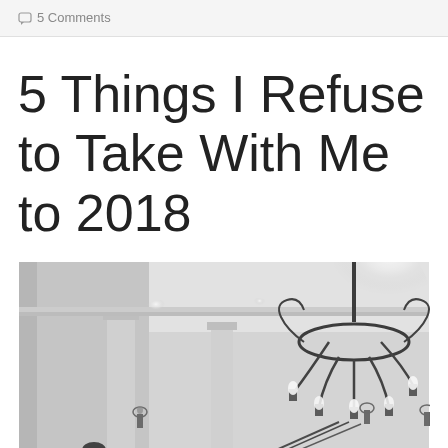💬 5 Comments
5 Things I Refuse to Take With Me to 2018
[Figure (photo): Black and white interior photo of an elegant foyer or hallway with a large ornate chandelier in the foreground, decorative wall sconces, classical columns, recessed ceiling lights, and a person visible in the lower portion of the image.]